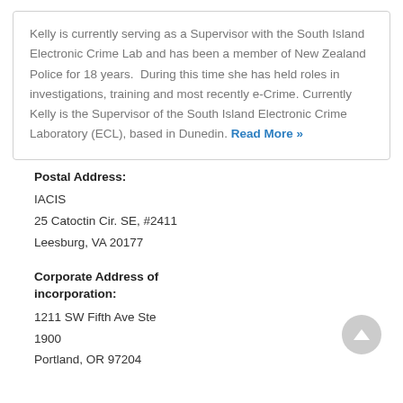Kelly is currently serving as a Supervisor with the South Island Electronic Crime Lab and has been a member of New Zealand Police for 18 years.  During this time she has held roles in investigations, training and most recently e-Crime. Currently Kelly is the Supervisor of the South Island Electronic Crime Laboratory (ECL), based in Dunedin. Read More »
Postal Address:
IACIS
25 Catoctin Cir. SE, #2411
Leesburg, VA 20177
Corporate Address of incorporation:
1211 SW Fifth Ave Ste 1900
Portland, OR 97204